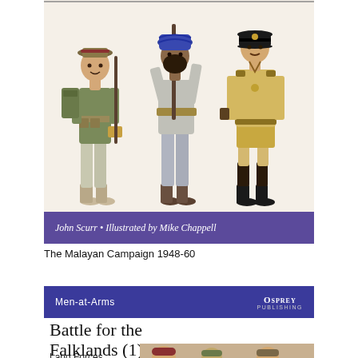[Figure (illustration): Three military figures in uniform: left figure in jungle combat gear with rifle and pack, center figure in grey uniform with turban holding rifle, right figure in khaki officer uniform with peaked cap]
John Scurr • Illustrated by Mike Chappell
The Malayan Campaign 1948-60
[Figure (illustration): Osprey Men-at-Arms series header bar with blue background showing series name and Osprey Publishing logo]
Battle for the Falklands (1)
Land Forces
[Figure (illustration): Partial view of soldiers in combat gear at bottom of page]